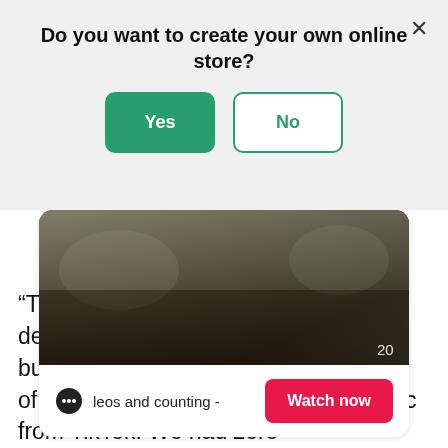Do you want to create your own online store?
Yes | No
[Figure (screenshot): A video thumbnail showing a dark brown/olive toned scene with a number '20' visible in the lower right of the thumbnail. Below the thumbnail is a row with a chat bubble icon, the text 'leos and counting -', and a red 'Watch now' button.]
“Tiktok exploded with love for our designs, and we ended up starting the business with our life savings—and all of the traffic to our website was organic from TikTok. We had zero